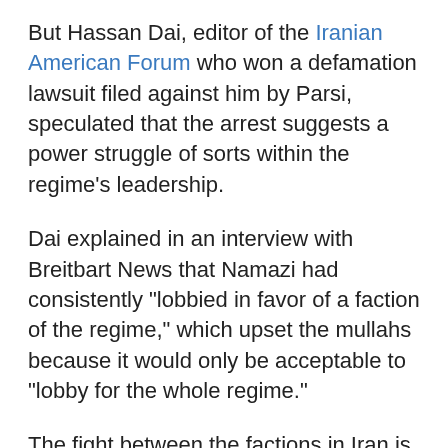But Hassan Dai, editor of the Iranian American Forum who won a defamation lawsuit filed against him by Parsi, speculated that the arrest suggests a power struggle of sorts within the regime's leadership.
Dai explained in an interview with Breitbart News that Namazi had consistently "lobbied in favor of a faction of the regime," which upset the mullahs because it would only be acceptable to "lobby for the whole regime."
The fight between the factions in Iran is a fight for "the best solution to preserve the regime," he explained, adding that groups like NIAC have never sided with true "reformists," but with people who wish to employ a different